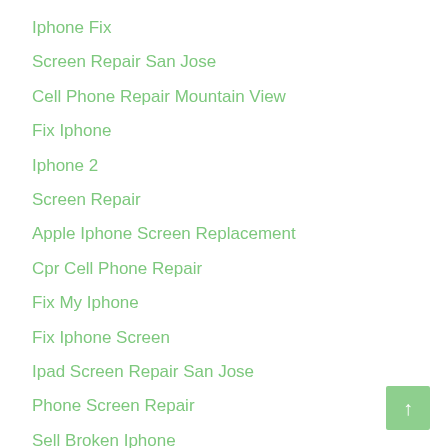Iphone Fix
Screen Repair San Jose
Cell Phone Repair Mountain View
Fix Iphone
Iphone 2
Screen Repair
Apple Iphone Screen Replacement
Cpr Cell Phone Repair
Fix My Iphone
Fix Iphone Screen
Ipad Screen Repair San Jose
Phone Screen Repair
Sell Broken Iphone